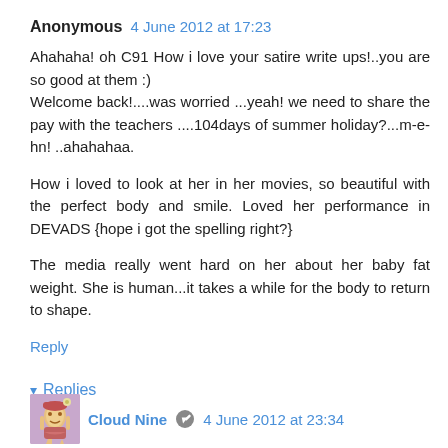Anonymous  4 June 2012 at 17:23
Ahahaha! oh C91 How i love your satire write ups!..you are so good at them :)
Welcome back!....was worried ...yeah! we need to share the pay with the teachers ....104days of summer holiday?...m-e-hn! ..ahahahaa.

How i loved to look at her in her movies, so beautiful with the perfect body and smile. Loved her performance in DEVADS {hope i got the spelling right?}

The media really went hard on her about her baby fat weight. She is human...it takes a while for the body to return to shape.
Reply
▾ Replies
Cloud Nine  4 June 2012 at 23:34